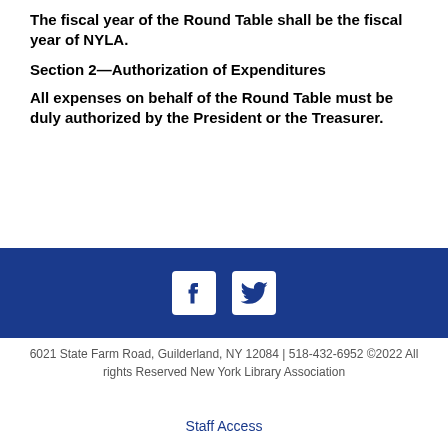The fiscal year of the Round Table shall be the fiscal year of NYLA.
Section 2—Authorization of Expenditures
All expenses on behalf of the Round Table must be duly authorized by the President or the Treasurer.
[Figure (illustration): Dark blue bar with Facebook and Twitter social media icons in white]
6021 State Farm Road, Guilderland, NY 12084 | 518-432-6952 ©2022 All rights Reserved New York Library Association
Staff Access